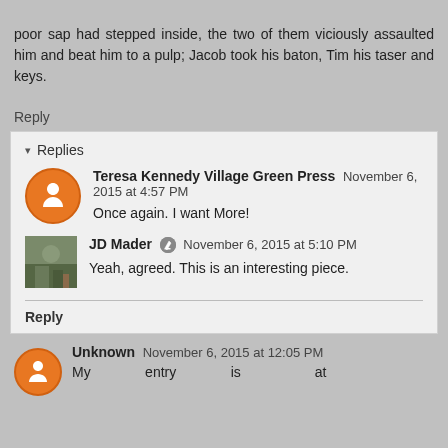poor sap had stepped inside, the two of them viciously assaulted him and beat him to a pulp; Jacob took his baton, Tim his taser and keys.
Reply
Replies
Teresa Kennedy Village Green Press  November 6, 2015 at 4:57 PM
Once again. I want More!
JD Mader  November 6, 2015 at 5:10 PM
Yeah, agreed. This is an interesting piece.
Reply
Unknown  November 6, 2015 at 12:05 PM
My entry is at